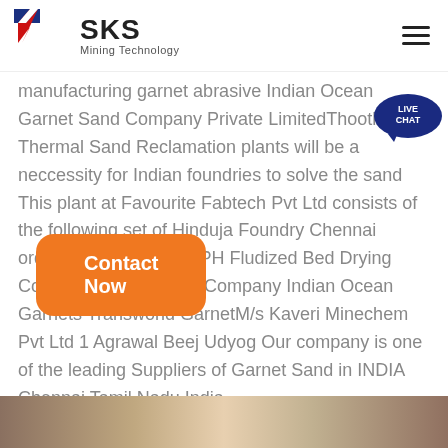SKS Mining Technology
manufacturing garnet abrasive Indian Ocean Garnet Sand Company Private LimitedThoothukudi Thermal Sand Reclamation plants will be a neccessity for Indian foundries to solve the sand This plant at Favourite Fabtech Pvt Ltd consists of the following set of Hinduja Foundry Chennai orders Wesman s 10 TPH Fludized Bed Drying Cooling Beach Mineral Company Indian Ocean Garnets Transworld GarnetM/s Kaveri Minechem Pvt Ltd 1 Agrawal Beej Udyog Our company is one of the leading Suppliers of Garnet Sand in INDIA Chennai Tamil Nadu India
[Figure (other): Contact Now button (orange rounded rectangle)]
[Figure (photo): Partial photo strip at the bottom of the page showing people]